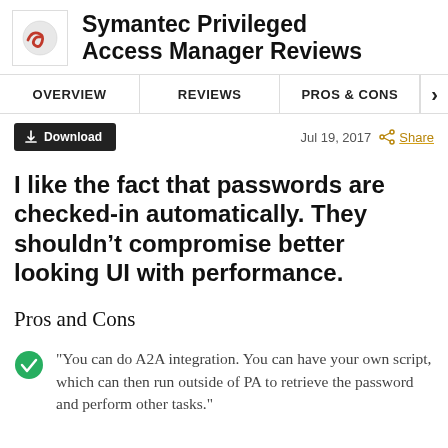Symantec Privileged Access Manager Reviews
OVERVIEW   REVIEWS   PROS & CONS
Download   Jul 19, 2017   Share
I like the fact that passwords are checked-in automatically. They shouldn’t compromise better looking UI with performance.
Pros and Cons
"You can do A2A integration. You can have your own script, which can then run outside of PA to retrieve the password and perform other tasks."